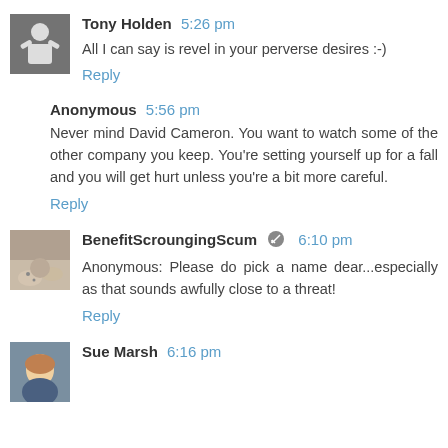Tony Holden  5:26 pm
All I can say is revel in your perverse desires :-)
Reply
Anonymous  5:56 pm
Never mind David Cameron. You want to watch some of the other company you keep. You're setting yourself up for a fall and you will get hurt unless you're a bit more careful.
Reply
BenefitScroungingScum  6:10 pm
Anonymous: Please do pick a name dear...especially as that sounds awfully close to a threat!
Reply
Sue Marsh  6:16 pm